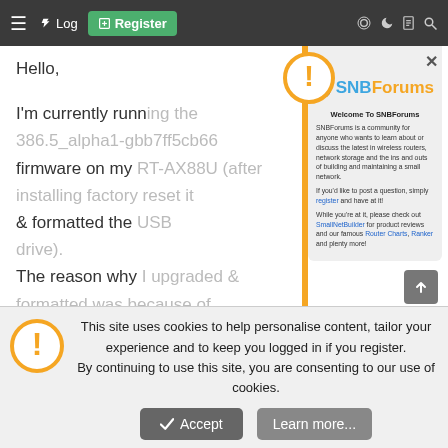[Figure (screenshot): SNBForums website screenshot with navigation bar showing hamburger menu, login, and register buttons]
Hello,
I'm currently running the 386.5_alpha1-gbb7ff5cb66 firmware on my RT-AX88U (after installing factory reset it & formatted the USB drive).
The reason why I upgraded & formatted was because of WiFi latency issues on the 5Ghz. I used to get a lot of packet loss + ping spikes even from 5ft away in the same room as my router.
[Figure (screenshot): SNBForums modal popup with bee logo, welcome message, and community description about wireless routers and network storage]
Welcome To SNBForums
SNBForums is a community for anyone who wants to learn about or discuss the latest in wireless routers, network storage and the ins and outs of building and maintaining a small network.
If you'd like to post a question, simply register and have at it!
While you're at it, please check out SmallNetBuilder for product reviews and our famous Router Charts, Ranker and plenty more!
My client is a MacBook Air M1 which might also have WiFi
This site uses cookies to help personalise content, tailor your experience and to keep you logged in if you register.
By continuing to use this site, you are consenting to our use of cookies.
Accept
Learn more...